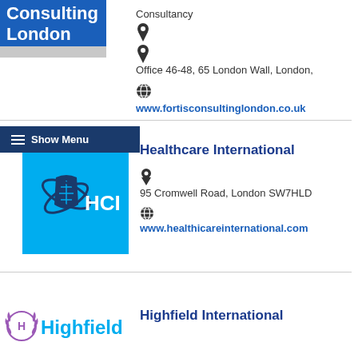[Figure (logo): Fortis Consulting London logo — blue rectangle with white text 'Consulting London', grey bar below]
Consultancy
Office 46-48, 65 London Wall, London,
www.fortisconsultinglondon.co.uk
[Figure (logo): Show Menu hamburger button overlay, dark navy background]
Healthcare International
[Figure (logo): HCI logo — cyan/sky-blue square with DNA helix and orbit icon and 'HCI' text in white]
95 Cromwell Road, London SW7HLD
www.healthicareinternational.com
Highfield International
[Figure (logo): Highfield logo — circular emblem with H and laurel, cyan 'Highfield' text]